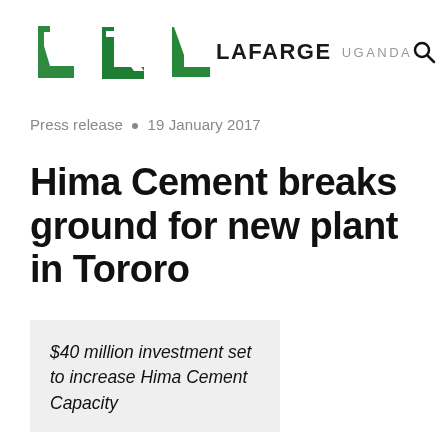LAFARGE UGANDA
Press release • 19 January 2017
Hima Cement breaks ground for new plant in Tororo
$40 million investment set to increase Hima Cement Capacity